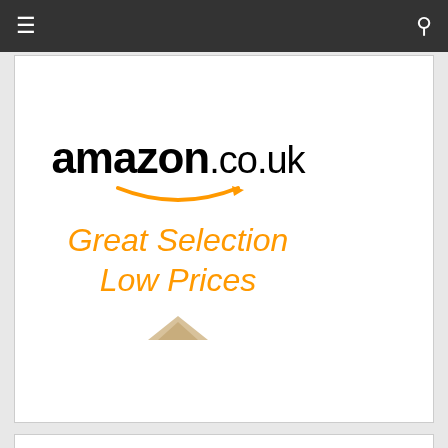Navigation bar with hamburger menu and search icon
[Figure (logo): Amazon.co.uk advertisement banner with logo, smile arrow, and tagline 'Great Selection Low Prices']
Showcases
[Figure (photo): AJA Streamlines 3D Workflow & Monitoring showcase image showing Mac Pro tower, monitors with editing software, and circuit board/capture card]